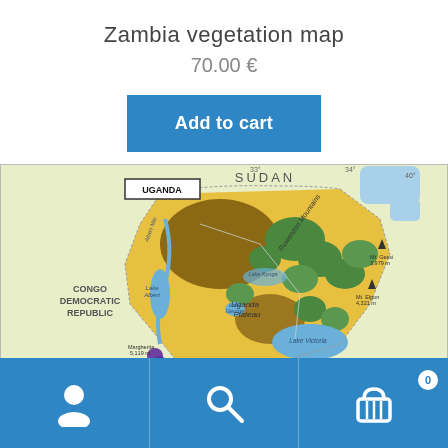Zambia vegetation map
70.00 €
Add to cart
[Figure (map): Uganda vegetation/geography map showing surrounding countries: Sudan (north), Kenya (east), Congo Democratic Republic (west), with colored regions indicating vegetation zones. Shows Uganda Plateau, Ruwenzori Mountains, Lake Victoria area, Lake Albert, Lake George, Mt. Elgon 4321m, Mt. Gessi 3979m, Margherita 5119m, Equator 0° marker. Bordered by box labeled UGANDA.]